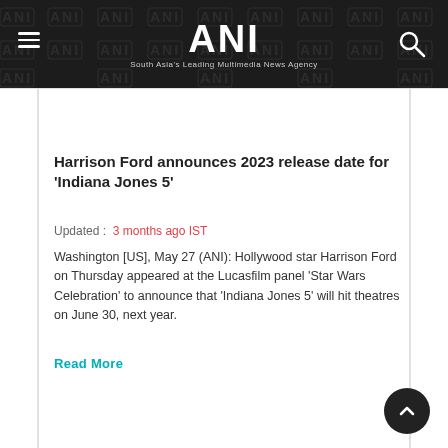ANI — South Asia's Leading Multimedia News Agency
Harrison Ford announces 2023 release date for 'Indiana Jones 5'
Updated :  3 months ago IST
Washington [US], May 27 (ANI): Hollywood star Harrison Ford on Thursday appeared at the Lucasfilm panel 'Star Wars Celebration' to announce that 'Indiana Jones 5' will hit theatres on June 30, next year.
Read More